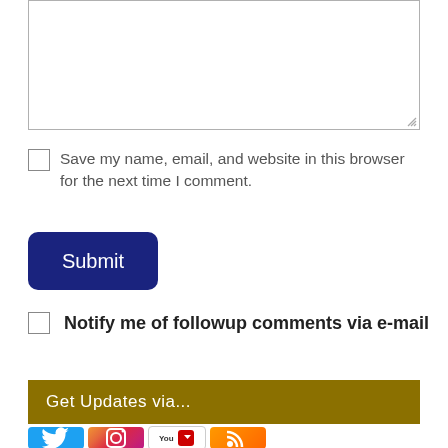[Figure (screenshot): Empty textarea input box with resize handle in bottom-right corner]
Save my name, email, and website in this browser for the next time I comment.
[Figure (screenshot): Submit button, dark navy blue with rounded corners, white text reading Submit]
Notify me of followup comments via e-mail
Get Updates via...
[Figure (infographic): Social media icons: Twitter, Instagram, YouTube, RSS feed]